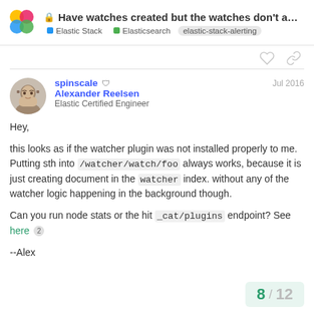Have watches created but the watches don't a... | Elastic Stack | Elasticsearch | elastic-stack-alerting
Hey,

this looks as if the watcher plugin was not installed properly to me. Putting sth into /watcher/watch/foo always works, because it is just creating document in the watcher index. without any of the watcher logic happening in the background though.

Can you run node stats or the hit _cat/plugins endpoint? See here 2

--Alex
8 / 12